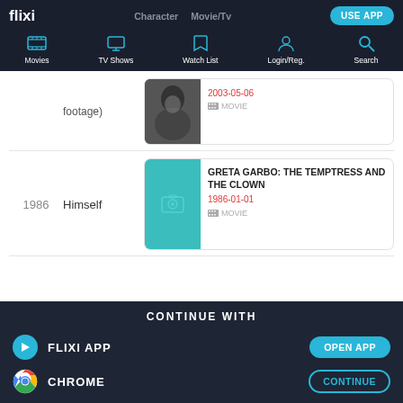flixi | Character | Movie/TV | USE APP | Movies | TV Shows | Watch List | Login/Reg. | Search
footage)
[Figure (photo): Black and white photo of a person]
2003-05-06
MOVIE
1986   Himself
[Figure (photo): Teal placeholder image with camera icon]
GRETA GARBO: THE TEMPTRESS AND THE CLOWN
1986-01-01
MOVIE
CONTINUE WITH
FLIXI APP
OPEN APP
CHROME
CONTINUE